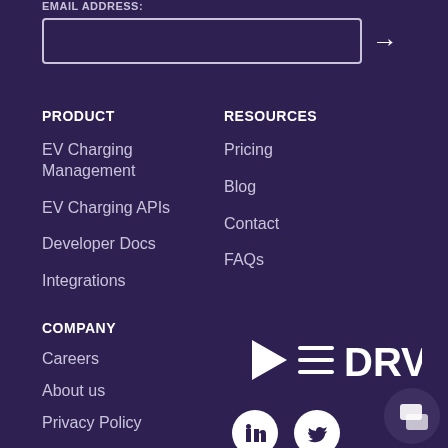EMAIL ADDRESS:
PRODUCT
EV Charging Management
EV Charging APIs
Developer Docs
Integrations
RESOURCES
Pricing
Blog
Contact
FAQs
COMPANY
Careers
About us
Privacy Policy
Terms of Service
[Figure (logo): eDRV logo with play button icon and three lines, white on dark purple background]
[Figure (illustration): LinkedIn and Twitter social media icons as white circles with dark purple symbols]